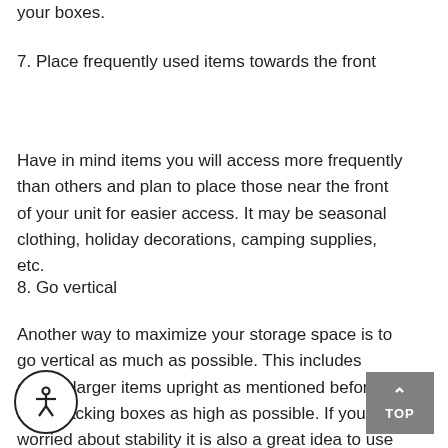your boxes.
7. Place frequently used items towards the front
Have in mind items you will access more frequently than others and plan to place those near the front of your unit for easier access. It may be seasonal clothing, holiday decorations, camping supplies, etc.
8. Go vertical
Another way to maximize your storage space is to go vertical as much as possible. This includes storing larger items upright as mentioned before but also stacking boxes as high as possible. If you're worried about stability it is also a great idea to use sturdy shelving. (Most storage